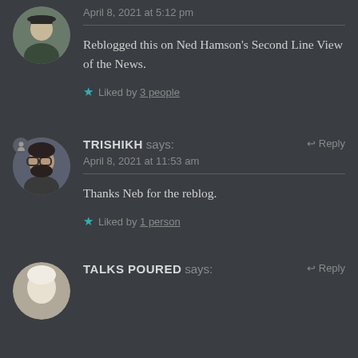April 8, 2021 at 5:12 pm
Reblogged this on Ned Hamson's Second Line View of the News.
★ Liked by 3 people
TRISHIKH says:
April 8, 2021 at 11:53 am
Thanks Neb for the reblog.
★ Liked by 1 person
TALKS POURED says: